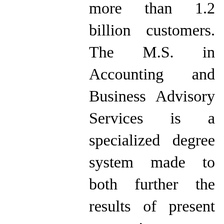more than 1.2 billion customers. The M.S. in Accounting and Business Advisory Services is a specialized degree system made to both further the results of present accounting experts and equip career-changers with the capabilities important to enter and excel in this business. As to answering your query only you can determine if what you have been presented is adequate